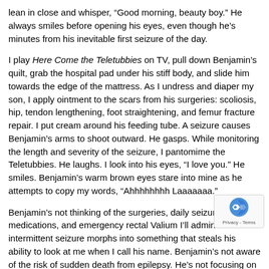lean in close and whisper, “Good morning, beauty boy.” He always smiles before opening his eyes, even though he’s minutes from his inevitable first seizure of the day.
I play Here Come the Teletubbies on TV, pull down Benjamin’s quilt, grab the hospital pad under his stiff body, and slide him towards the edge of the mattress. As I undress and diaper my son, I apply ointment to the scars from his surgeries: scoliosis, hip, tendon lengthening, foot straightening, and femur fracture repair. I put cream around his feeding tube. A seizure causes Benjamin’s arms to shoot outward. He gasps. While monitoring the length and severity of the seizure, I pantomime the Teletubbies. He laughs. I look into his eyes, “I love you.” He smiles. Benjamin’s warm brown eyes stare into mine as he attempts to copy my words, “Ahhhhhhhh Laaaaaaa.”
Benjamin’s not thinking of the surgeries, daily seizure medications, and emergency rectal Valium I’ll administer if this intermittent seizure morphs into something that steals his ability to look at me when I call his name. Benjamin’s not aware of the risk of sudden death from epilepsy. He’s not focusing on his pulse ox monitor, feeding tube, suction machine, nebulizer, or wheelchair. He’s not rehashing sleepless nights with fever, congestion, reflux, vomiting and pneumonia. Benjamin’s not even thinking about the next electrical jolt